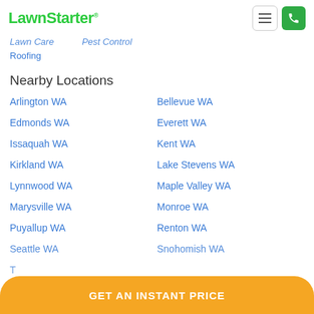LawnStarter
Lawn Care
Pest Control
Roofing
Nearby Locations
Arlington WA
Bellevue WA
Edmonds WA
Everett WA
Issaquah WA
Kent WA
Kirkland WA
Lake Stevens WA
Lynnwood WA
Maple Valley WA
Marysville WA
Monroe WA
Puyallup WA
Renton WA
Seattle WA
Snohomish WA
T…
GET AN INSTANT PRICE